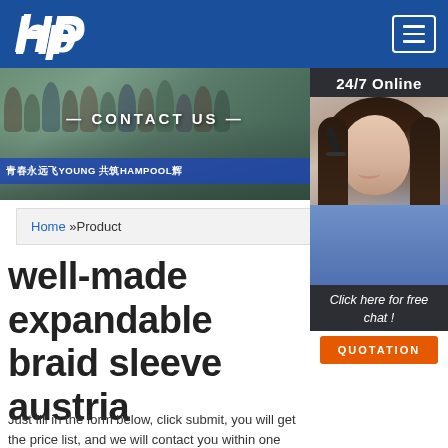HP logo and navigation menu
[Figure (photo): Banner photo showing a group of people outdoors with a blue banner reading 青春永远飞YOUNG 共筑HAMPOOL辉, with CONTACT US text overlay]
[Figure (photo): 24/7 Online customer service agent photo with headset, with Click here for free chat! text and QUOTATION button]
Home »Product
well-made expandable braid sleeve austria
Just fill in the form below, click submit, you will get the price list, and we will contact you within one working day. Please also feel free to contact us via email or phone. (*